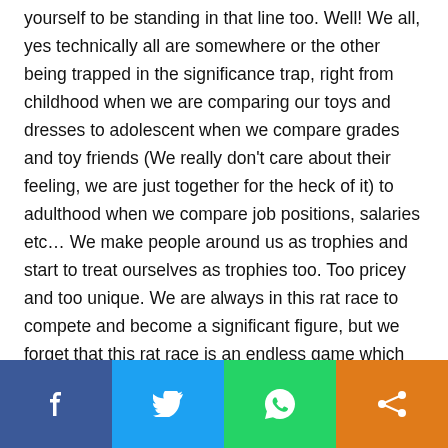yourself to be standing in that line too. Well! We all, yes technically all are somewhere or the other being trapped in the significance trap, right from childhood when we are comparing our toys and dresses to adolescent when we compare grades and toy friends (We really don't care about their feeling, we are just together for the heck of it) to adulthood when we compare job positions, salaries etc… We make people around us as trophies and start to treat ourselves as trophies too. Too pricey and too unique. We are always in this rat race to compete and become a significant figure, but we forget that this rat race is an endless game which we start to play but we are never going to stop during our lifetime and will be passing this trap to generations too.
[Figure (other): Social sharing bar with four buttons: Facebook (blue), Twitter (light blue), WhatsApp (green), Share (orange)]